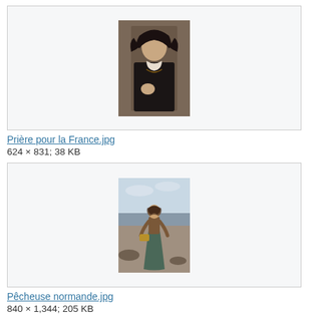[Figure (photo): Painting of a Breton woman in traditional headdress, portrait style, dark background]
Prière pour la France.jpg
624 × 831; 38 KB
[Figure (photo): Painting of a young girl standing on a beach shore holding a basket, full figure portrait]
Pêcheuse normande.jpg
840 × 1,344; 205 KB